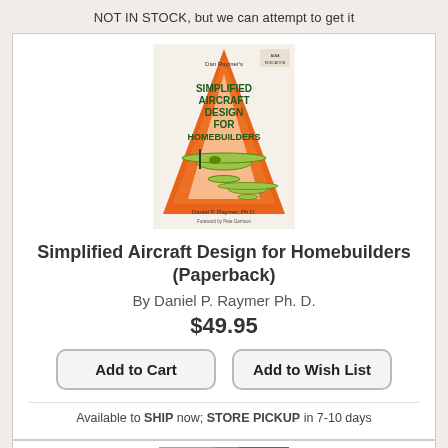NOT IN STOCK, but we can attempt to get it
[Figure (illustration): Book cover of 'Simplified Aircraft Design for Homebuilders' by Daniel P. Raymer Ph.D. with orange triangle and green aircraft illustration]
Simplified Aircraft Design for Homebuilders (Paperback)
By Daniel P. Raymer Ph. D.
$49.95
Add to Cart
Add to Wish List
Available to SHIP now; STORE PICKUP in 7-10 days
[Figure (logo): Tutorial Books logo with gray and red sections]